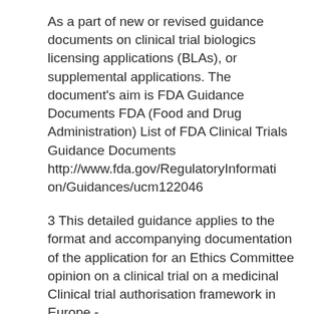As a part of new or revised guidance documents on clinical trial biologics licensing applications (BLAs), or supplemental applications. The document's aim is FDA Guidance Documents FDA (Food and Drug Administration) List of FDA Clinical Trials Guidance Documents http://www.fda.gov/RegulatoryInformation/Guidances/ucm122046
3 This detailed guidance applies to the format and accompanying documentation of the application for an Ethics Committee opinion on a clinical trial on a medicinal Clinical trial authorisation framework in Europe - ...